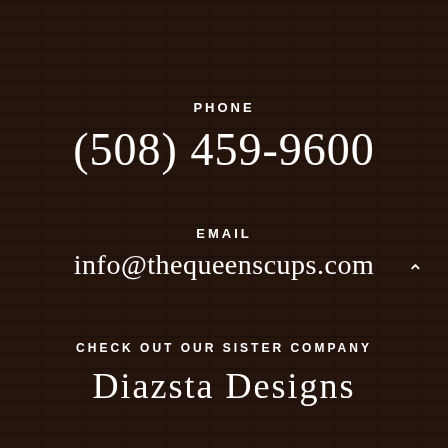[Figure (photo): Dark photograph of a brick building exterior with signage partially visible reading 'THE QUE...' at the top and storefront signs on the left side. The image is heavily darkened.]
PHONE
(508) 459-9600
EMAIL
info@thequeenscups.com
CHECK OUT OUR SISTER COMPANY
Diazsta Designs